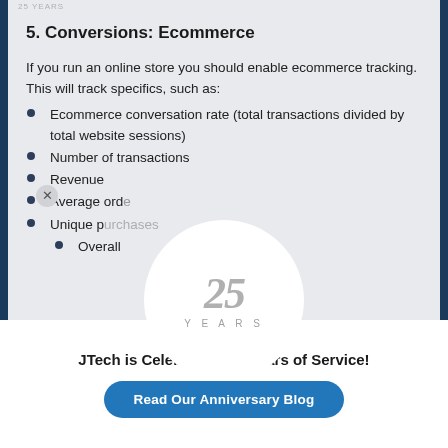5. Conversions: Ecommerce
If you run an online store you should enable ecommerce tracking. This will track specifics, such as:
Ecommerce conversation rate (total transactions divided by total website sessions)
Number of transactions
Revenue
Average order
Unique purchases
Overall
[Figure (logo): 25 YEARS anniversary logo in silver/grey on a white circle overlay]
JTech is Celebrating 25 Years of Service!
Read Our Anniversary Blog